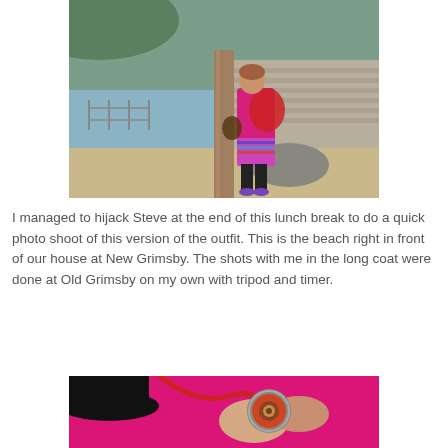[Figure (photo): Woman in pink top and colorful skirt standing by a wooden post on a beach at New Grimsby, with water and a stone wall in the background.]
I managed to hijack Steve at the end of this lunch break to do a quick photo shoot of this version of the outfit. This is the beach right in front of our house at New Grimsby. The shots with me in the long coat were done at Old Grimsby on my own with tripod and timer.
[Figure (photo): Close-up of hands holding a decorative brooch or badge against a bright pink fuzzy fabric, with a red cord visible.]